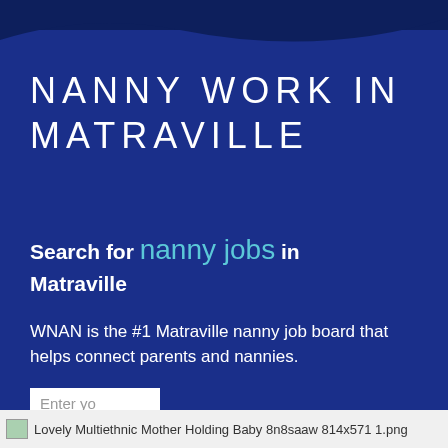[Figure (illustration): Dark navy decorative curved banner at top of page]
NANNY WORK IN MATRAVILLE
Search for nanny jobs in Matraville
WNAN is the #1 Matraville nanny job board that helps connect parents and nannies.
Enter yo [input field] FIND A JOB [button]
Lovely Multiethnic Mother Holding Baby 8n8saaw 814x571 1.png